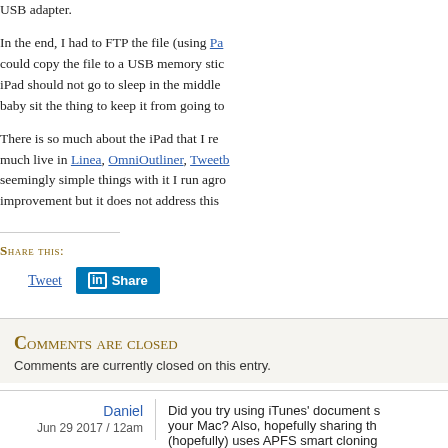USB adapter.
In the end, I had to FTP the file (using Pa...) could copy the file to a USB memory stick... iPad should not go to sleep in the middle... baby sit the thing to keep it from going to...
There is so much about the iPad that I re... much live in Linea, OmniOutliner, Tweetb... seemingly simple things with it I run agro... improvement but it does not address this...
SHARE THIS:
Tweet
[Figure (screenshot): LinkedIn Share button]
Comments are closed
Comments are currently closed on this entry.
Daniel
Jun 29 2017 / 12am
Did you try using iTunes' document s... your Mac? Also, hopefully sharing th... (hopefully) uses APFS smart cloning...